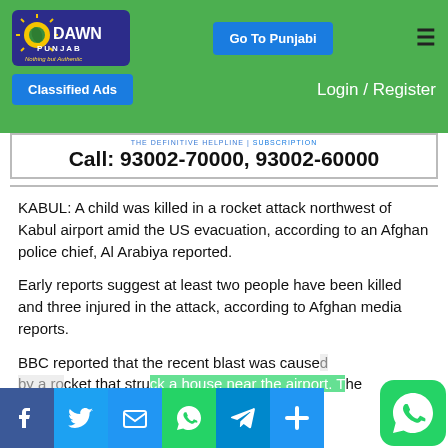[Figure (logo): Dawn Punjab logo - blue rounded rectangle with sun graphic and text 'DAWN PUNJAB Nothing but Authentic']
Go To Punjabi
☰
Classified Ads
Login / Register
Call: 93002-70000, 93002-60000
KABUL: A child was killed in a rocket attack northwest of Kabul airport amid the US evacuation, according to an Afghan police chief, Al Arabiya reported.
Early reports suggest at least two people have been killed and three injured in the attack, according to Afghan media reports.
BBC reported that the recent blast was caused by a rocket that struck a house near the airport. The report partially obscured.